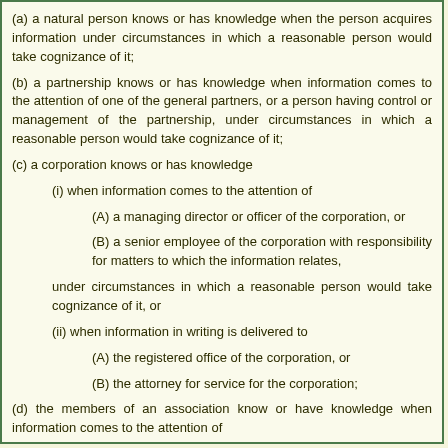(a) a natural person knows or has knowledge when the person acquires information under circumstances in which a reasonable person would take cognizance of it;
(b) a partnership knows or has knowledge when information comes to the attention of one of the general partners, or a person having control or management of the partnership, under circumstances in which a reasonable person would take cognizance of it;
(c) a corporation knows or has knowledge
(i) when information comes to the attention of
(A) a managing director or officer of the corporation, or
(B) a senior employee of the corporation with responsibility for matters to which the information relates,
under circumstances in which a reasonable person would take cognizance of it, or
(ii) when information in writing is delivered to
(A) the registered office of the corporation, or
(B) the attorney for service for the corporation;
(d) the members of an association know or have knowledge when information comes to the attention of
(i) a managing director or officer of the association,
(ii) a senior employee of the association with responsibility for matters to which the information relates, or